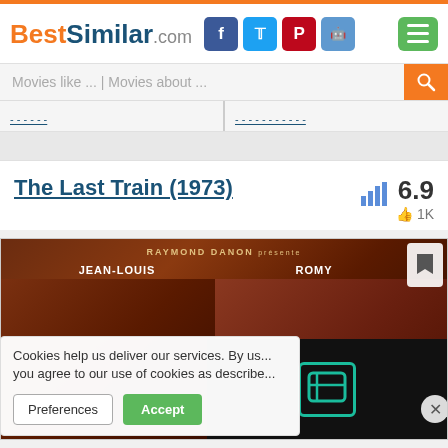BestSimilar.com
Movies like ... | Movies about ...
The Last Train (1973)
6.9  1K
[Figure (photo): Movie poster for The Last Train (1973) featuring Jean-Louis Trintignant and Romy Schneider, produced by Raymond Danon]
Cookies help us deliver our services. By us... you agree to our use of cookies as describe...